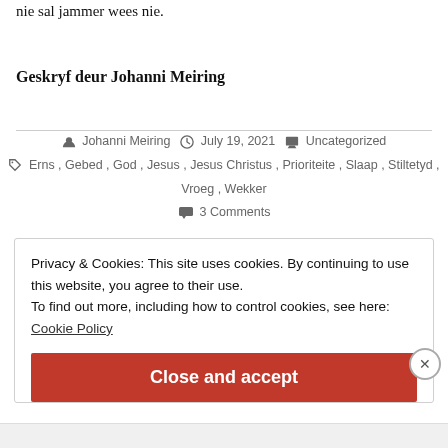nie sal jammer wees nie.
Geskryf deur Johanni Meiring
Johanni Meiring   July 19, 2021   Uncategorized
Erns, Gebed, God, Jesus, Jesus Christus, Prioriteite, Slaap, Stiltetyd, Vroeg, Wekker
3 Comments
Privacy & Cookies: This site uses cookies. By continuing to use this website, you agree to their use.
To find out more, including how to control cookies, see here:
Cookie Policy
Close and accept